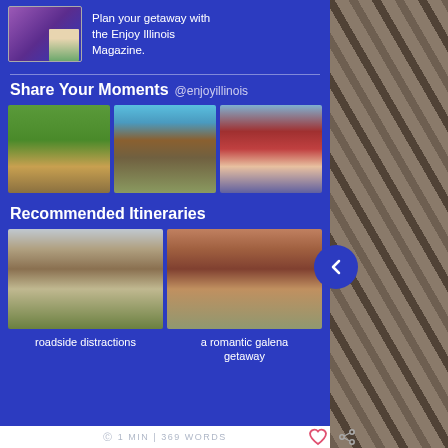Plan your getaway with the Enjoy Illinois Magazine.
Share Your Moments @enjoyillinois
[Figure (photo): Three social media photos: wine glasses on a patio, a covered wooden bridge, and people at a fair with candy cane decoration]
Recommended Itineraries
[Figure (photo): Two itinerary thumbnail photos: roadside distractions street scene, and a romantic Galena getaway street view]
roadside distractions
a romantic galena getaway
1 MIN | 369 WORDS